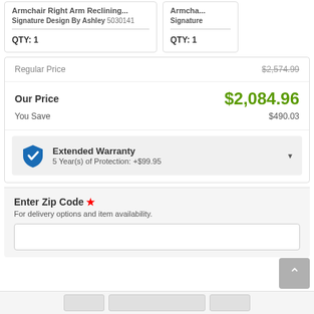Signature Design By Ashley 5030141
QTY: 1
Signature
QTY: 1
| Regular Price | $2,574.99 |
| Our Price | $2,084.96 |
| You Save | $490.03 |
Extended Warranty
5 Year(s) of Protection: +$99.95
Enter Zip Code *
For delivery options and item availability.